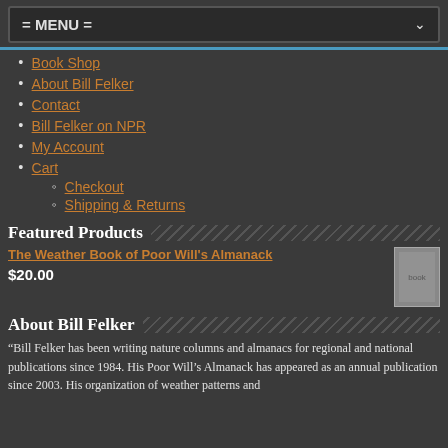= MENU =
Book Shop
About Bill Felker
Contact
Bill Felker on NPR
My Account
Cart
Checkout
Shipping & Returns
Featured Products
The Weather Book of Poor Will's Almanack
$20.00
About Bill Felker
“Bill Felker has been writing nature columns and almanacs for regional and national publications since 1984. His Poor Will’s Almanack has appeared as an annual publication since 2003. His organization of weather patterns and